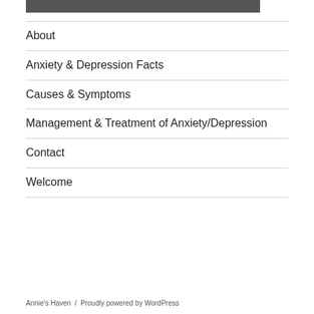[Figure (photo): Partial dark photo strip at top of page]
About
Anxiety & Depression Facts
Causes & Symptoms
Management & Treatment of Anxiety/Depression
Contact
Welcome
Annie's Haven  /  Proudly powered by WordPress